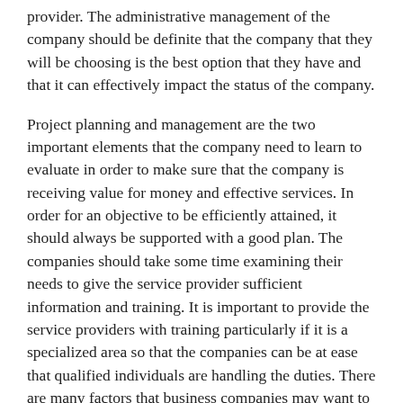provider. The administrative management of the company should be definite that the company that they will be choosing is the best option that they have and that it can effectively impact the status of the company.
Project planning and management are the two important elements that the company need to learn to evaluate in order to make sure that the company is receiving value for money and effective services. In order for an objective to be efficiently attained, it should always be supported with a good plan. The companies should take some time examining their needs to give the service provider sufficient information and training. It is important to provide the service providers with training particularly if it is a specialized area so that the companies can be at ease that qualified individuals are handling the duties. There are many factors that business companies may want to consider in choosing from a group of options the most suitable service provider that will perform the job in behalf